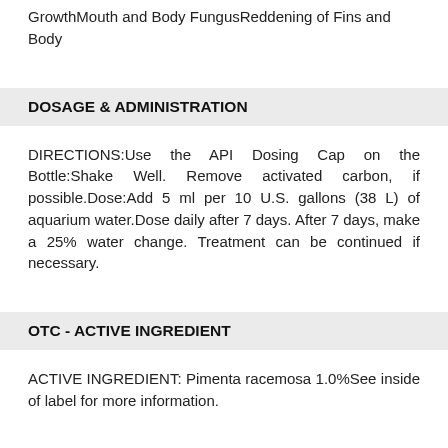GrowthMouth and Body FungusReddening of Fins and Body
DOSAGE & ADMINISTRATION
DIRECTIONS:Use the API Dosing Cap on the Bottle:Shake Well. Remove activated carbon, if possible.Dose:Add 5 ml per 10 U.S. gallons (38 L) of aquarium water.Dose daily after 7 days. After 7 days, make a 25% water change. Treatment can be continued if necessary.
OTC - ACTIVE INGREDIENT
ACTIVE INGREDIENT: Pimenta racemosa 1.0%See inside of label for more information.
USER SAFETY WARNINGS
FUNGAL INFECTION   BACTERIAL INFECTION